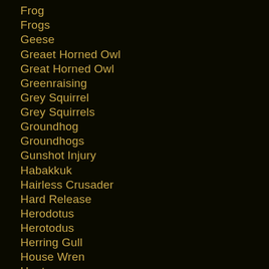Forest Chicken
Frog
Frogs
Geese
Greaet Horned Owl
Great Horned Owl
Greenraising
Grey Squirrel
Grey Squirrels
Groundhog
Groundhogs
Gunshot Injury
Habakkuk
Hairless Crusader
Hard Release
Herodotus
Herotodus
Herring Gull
House Wren
Hunters
Ice Storm
Indigo Bunting